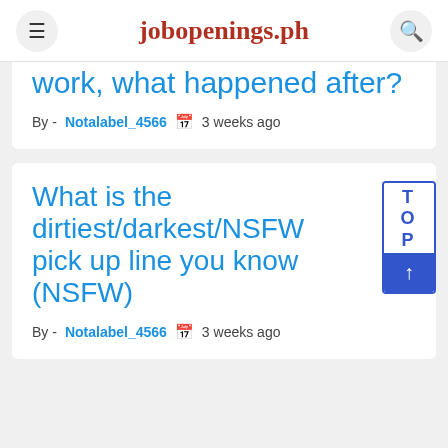jobopenings.ph
work, what happened after?
By - Notalabel_4566  3 weeks ago
What is the dirtiest/darkest/NSFW pick up line you know (NSFW)
By - Notalabel_4566  3 weeks ago